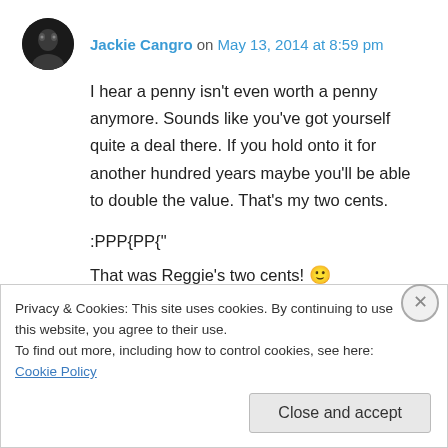Jackie Cangro on May 13, 2014 at 8:59 pm
I hear a penny isn't even worth a penny anymore. Sounds like you've got yourself quite a deal there. If you hold onto it for another hundred years maybe you'll be able to double the value. That's my two cents.
:PPP{PP{"
That was Reggie's two cents! 🙂
Privacy & Cookies: This site uses cookies. By continuing to use this website, you agree to their use. To find out more, including how to control cookies, see here: Cookie Policy